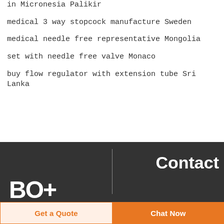iv manual regulator price in Micronesia Palikir
medical 3 way stopcock manufacture Sweden
medical needle free representative Mongolia
set with needle free valve Monaco
buy flow regulator with extension tube Sri Lanka
BO+ | Contact | Get a Quote | Chat Now